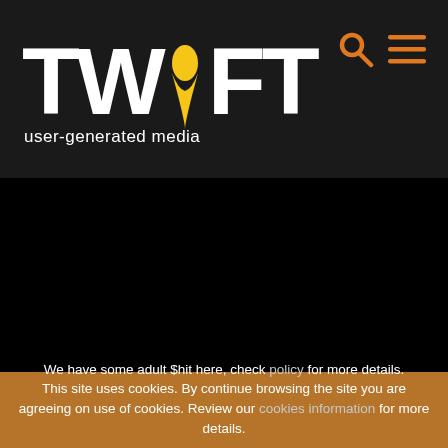[Figure (logo): TWIFT user-generated media logo with yellow teardrop-shaped letter I, white bold letters T W F T, orange search and hamburger menu icons on dark background]
[Figure (photo): Solid black rectangular area below header]
We have some adult $hit here, check policy for more details. This site uses cookies. By continue browsing the site you are agreeing on use of cookies. Review our cookies information for more details.
I accept